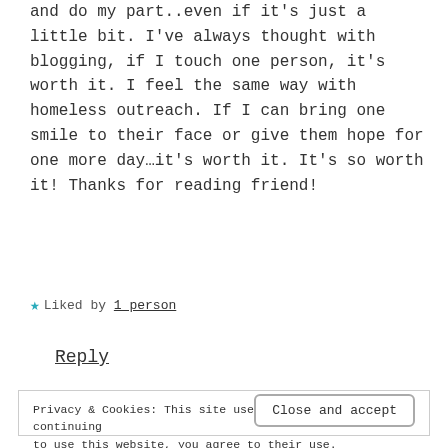and do my part..even if it's just a little bit. I've always thought with blogging, if I touch one person, it's worth it. I feel the same way with homeless outreach. If I can bring one smile to their face or give them hope for one more day…it's worth it. It's so worth it! Thanks for reading friend!
★ Liked by 1 person
Reply
Privacy & Cookies: This site uses cookies. By continuing to use this website, you agree to their use. To find out more, including how to control cookies, see here: Cookie Policy
Close and accept